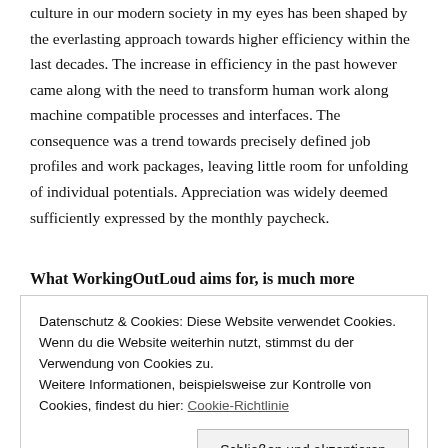culture in our modern society in my eyes has been shaped by the everlasting approach towards higher efficiency within the last decades. The increase in efficiency in the past however came along with the need to transform human work along machine compatible processes and interfaces. The consequence was a trend towards precisely defined job profiles and work packages, leaving little room for unfolding of individual potentials. Appreciation was widely deemed sufficiently expressed by the monthly paycheck.
What WorkingOutLoud aims for, is much more
Datenschutz & Cookies: Diese Website verwendet Cookies. Wenn du die Website weiterhin nutzt, stimmst du der Verwendung von Cookies zu.
Weitere Informationen, beispielsweise zur Kontrolle von Cookies, findest du hier: Cookie-Richtlinie
Schließen und akzeptieren
form the start of appreciative networking. Appreciation